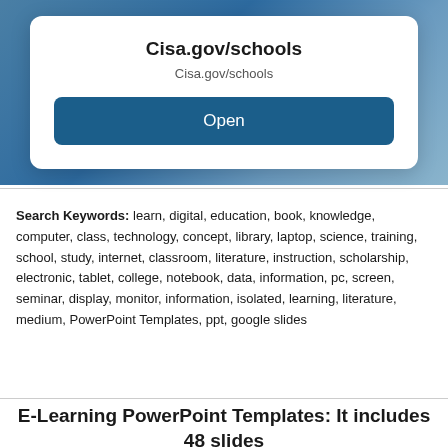[Figure (screenshot): A mobile dialog box over a blurred blue-grey background showing the URL 'Cisa.gov/schools' with an 'Open' button in dark blue.]
Search Keywords: learn, digital, education, book, knowledge, computer, class, technology, concept, library, laptop, science, training, school, study, internet, classroom, literature, instruction, scholarship, electronic, tablet, college, notebook, data, information, pc, screen, seminar, display, monitor, information, isolated, learning, literature, medium, PowerPoint Templates, ppt, google slides
E-Learning PowerPoint Templates: It includes 48 slides